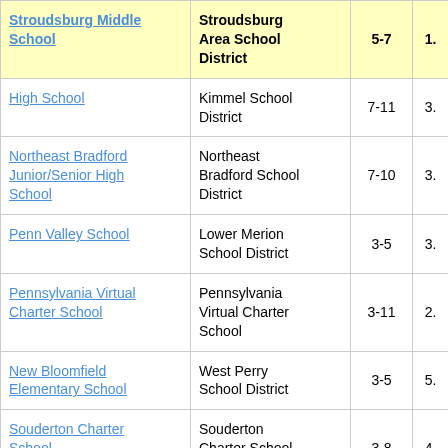| School | District | Grades |  |
| --- | --- | --- | --- |
| Stroudsburg Middle School | Stroudsburg Area School District | 5-7 | 1. |
| High School | Kimmel School District | 7-11 | 3. |
| Northeast Bradford Junior/Senior High School | Northeast Bradford School District | 7-10 | 3. |
| Penn Valley School | Lower Merion School District | 3-5 | 3. |
| Pennsylvania Virtual Charter School | Pennsylvania Virtual Charter School | 3-11 | 2. |
| New Bloomfield Elementary School | West Perry School District | 3-5 | 5. |
| Souderton Charter School Collaborative | Souderton Charter School Collaborative | 3-8 | 4. |
| Ithan Elementary | Radnor Township |  |  |